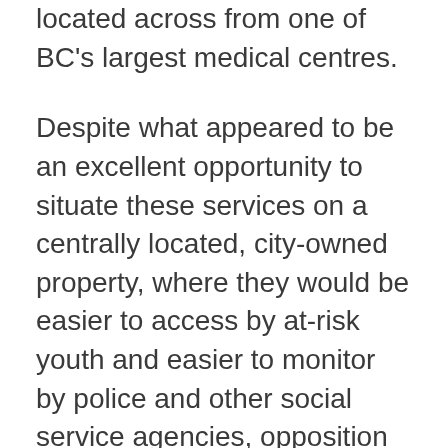located across from one of BC's largest medical centres.
Despite what appeared to be an excellent opportunity to situate these services on a centrally located, city-owned property, where they would be easier to access by at-risk youth and easier to monitor by police and other social service agencies, opposition in the surrounding area began to crop up. Notices were placed in the lobbies of apartment buildings and slipped under people's doors, inviting them to attend the public meetings to oppose the project. In some cases, building